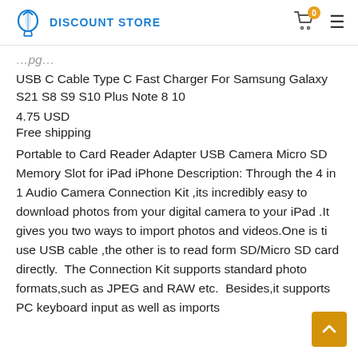DISCOUNT STORE
USB C Cable Type C Fast Charger For Samsung Galaxy S21 S8 S9 S10 Plus Note 8 10
4.75 USD
Free shipping
Portable to Card Reader Adapter USB Camera Micro SD Memory Slot for iPad iPhone Description: Through the 4 in 1 Audio Camera Connection Kit ,its incredibly easy to download photos from your digital camera to your iPad .It gives you two ways to import photos and videos.One is ti use USB cable ,the other is to read form SD/Micro SD card directly.  The Connection Kit supports standard photo formats,such as JPEG and RAW etc.  Besides,it supports PC keyboard input as well as imports